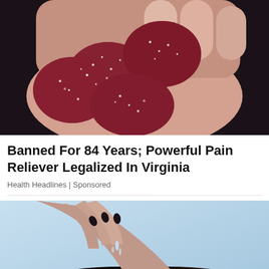[Figure (photo): A hand holding several dark red sugar-coated gummy candies against a dark background]
Banned For 84 Years; Powerful Pain Reliever Legalized In Virginia
Health Headlines | Sponsored
[Figure (photo): A woman with dark hair and black nail polish applying liquid serum or oil to her scalp against a light blue background]